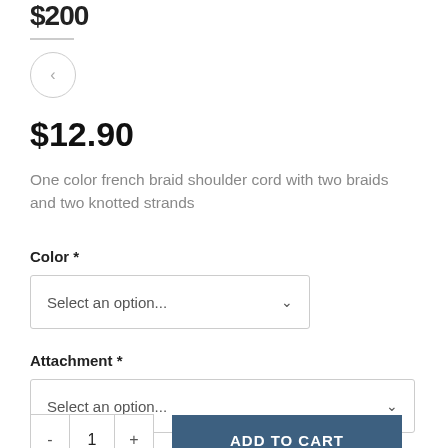$200
[Figure (illustration): Navigation circle with left chevron arrow]
$12.90
One color french braid shoulder cord with two braids and two knotted strands
Color *
Select an option...
Attachment *
Select an option...
- 1 + ADD TO CART